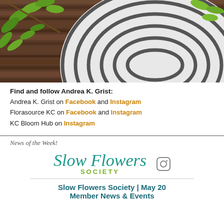[Figure (photo): Decorative striped spherical vase with green plant leaves on a wooden surface]
Find and follow Andrea K. Grist:
Andrea K. Grist on Facebook and Instagram
Florasource KC on Facebook and Instagram
KC Bloom Hub on Instagram
News of the Week!
[Figure (logo): Slow Flowers Society logo with teal script text and green 'SOCIETY' text, with Instagram icon]
Slow Flowers Society | May 20...
Member News & Events